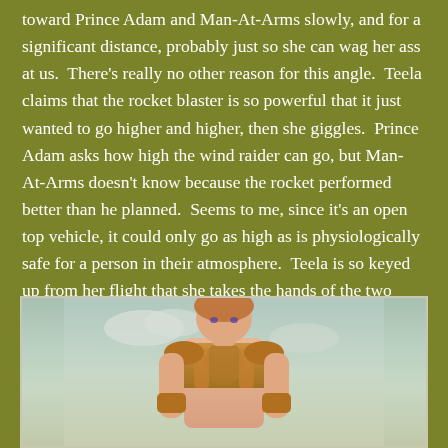toward Prince Adam and Man-At-Arms slowly, and for a significant distance, probably just so she can wag her ass at us.  There's really no other reason for this angle.  Teela claims that the rocket blaster is so powerful that it just wanted to go higher and higher, then she giggles.  Prince Adam asks how high the wind raider can go, but Man-At-Arms doesn't know because the rocket performed better than he planned.  Seems to me, since it's an open top vehicle, it could only go as high as is physiologically safe for a person in their atmosphere.  Teela is so keyed up from her flight that she takes the hands of the two Widgets to lead them off and do wicked, sexual things with them in order to continue her adrenaline high.  Man-At-Arms wants to pop the hood on the wind raider and get some grease on his hands and invites Prince Adam to join him.
[Figure (illustration): Partial illustration of an animated cartoon character, appears to be from He-Man series, showing upper body of a character with orange/gold armor against a light sky background.]